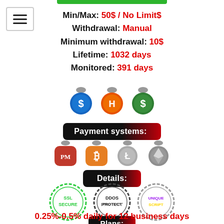Min/Max: 50$ / No Limit$
Withdrawal: Manual
Minimum withdrawal: 10$
Lifetime: 1032 days
Monitored: 391 days
[Figure (illustration): Three coin badge icons: blue dollar, orange H, green dollar]
Payment systems:
[Figure (illustration): Four payment method icons: PM (red), Bitcoin (orange), Litecoin (silver), Ethereum (gray)]
Details:
[Figure (illustration): Three stamp badges: SSL Secure (green), DDoS Protect (dark), Unique Script (purple)]
Plans:
0.25%-0.5% daily for 12 business days